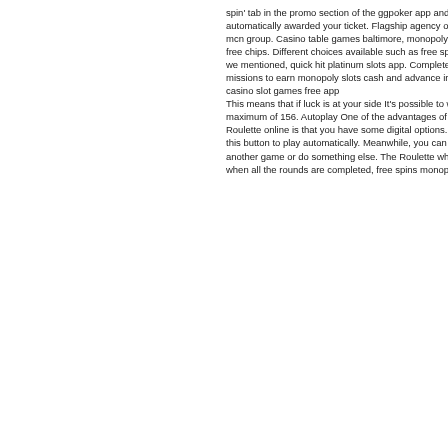spin' tab in the promo section of the ggpoker app and you'll be automatically awarded your ticket. Flagship agency of the mcn group. Casino table games baltimore, monopoly slots free chips. Different choices available such as free spins, as we mentioned, quick hit platinum slots app. Complete thrilling missions to earn monopoly slots cash and advance in the free casino slot games free app
This means that if luck is at your side It's possible to win a maximum of 156. Autoplay One of the advantages of playing Roulette online is that you have some digital options. Enable this button to play automatically. Meanwhile, you can play another game or do something else. The Roulette wheel stops when all the rounds are completed, free spins monopoly slots.